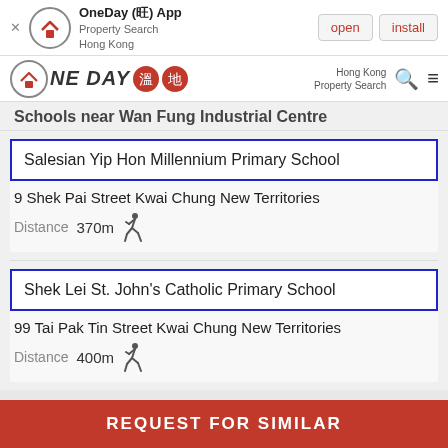[Figure (screenshot): App install banner for OneDay App - Property Search Hong Kong with open and install buttons]
[Figure (logo): OneDay property search logo with Chinese characters badges, Hong Kong Property Search label, search and menu icons]
Schools near Wan Fung Industrial Centre
Salesian Yip Hon Millennium Primary School
9 Shek Pai Street Kwai Chung New Territories
Distance 370m
Shek Lei St. John's Catholic Primary School
99 Tai Pak Tin Street Kwai Chung New Territories
Distance 400m
REQUEST FOR SIMILAR